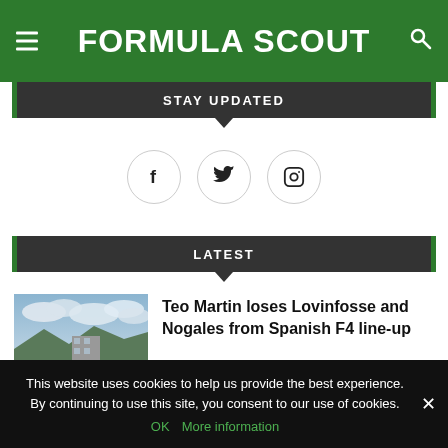FORMULA SCOUT
STAY UPDATED
[Figure (infographic): Three social media icon circles: Facebook (f), Twitter (bird), Instagram (camera)]
LATEST
[Figure (photo): Outdoor racing circuit photo with cloudy sky and mountains/hills in background]
Teo Martin loses Lovinfosse and Nogales from Spanish F4 line-up
This website uses cookies to help us provide the best experience. By continuing to use this site, you consent to our use of cookies.
OK   More information